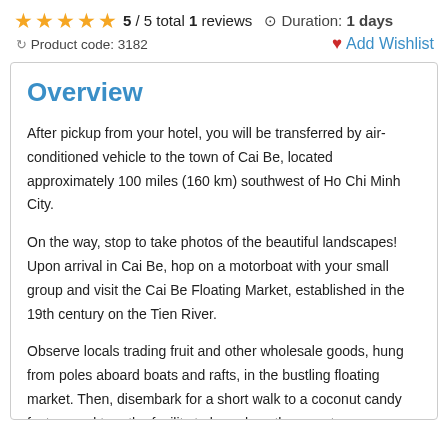5 / 5 total 1 reviews  Duration: 1 days  Product code: 3182  Add Wishlist
Overview
After pickup from your hotel, you will be transferred by air-conditioned vehicle to the town of Cai Be, located approximately 100 miles (160 km) southwest of Ho Chi Minh City.
On the way, stop to take photos of the beautiful landscapes! Upon arrival in Cai Be, hop on a motorboat with your small group and visit the Cai Be Floating Market, established in the 19th century on the Tien River.
Observe locals trading fruit and other wholesale goods, hung from poles aboard boats and rafts, in the bustling floating market. Then, disembark for a short walk to a coconut candy factory and tour the facility to learn how the sweets are produced.
You'll have the opportunity to purchase some candy before